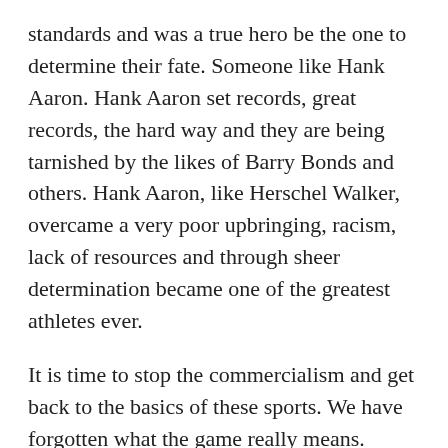standards and was a true hero be the one to determine their fate. Someone like Hank Aaron. Hank Aaron set records, great records, the hard way and they are being tarnished by the likes of Barry Bonds and others. Hank Aaron, like Herschel Walker, overcame a very poor upbringing, racism, lack of resources and through sheer determination became one of the greatest athletes ever.
It is time to stop the commercialism and get back to the basics of these sports. We have forgotten what the game really means. There is a reason why in Brooklyn they still remember the Brooklyn Dodgers. Lets not let the great game of baseball be ruined by people like Barry Bonds. They must be removed from the game, their history completely wiped out and start anew. This is the only way to retain or rescue the image of professional baseball.